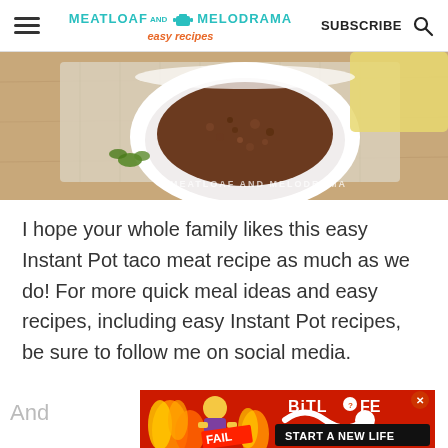MEATLOAF AND MELODRAMA easy recipes | SUBSCRIBE
[Figure (photo): Top-down view of a white bowl filled with seasoned taco meat (ground beef) on a linen napkin on a wooden surface, with a sprig of herb and yellow cloth in background. Watermark text: MEATLOAF AND MELODRAMA]
I hope your whole family likes this easy Instant Pot taco meat recipe as much as we do! For more quick meal ideas and easy recipes, including easy Instant Pot recipes, be sure to follow me on social media.
[Figure (photo): Advertisement banner: BitLife - Start a New Life. Red background with flames, cartoon blonde woman and fire imagery, with BitLife logo and question mark icon.]
And